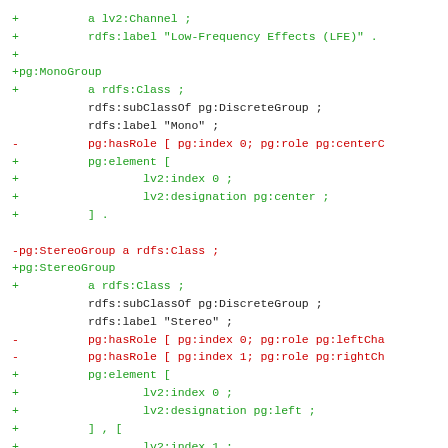Code diff showing changes to pg:MonoGroup, pg:StereoGroup, and pg:MidSideGroup RDF definitions, converting pg:hasRole to pg:element with lv2:index and lv2:designation properties.